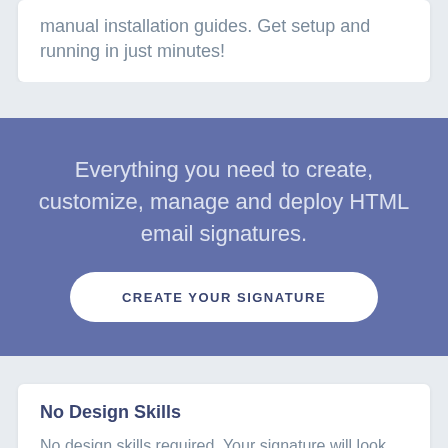manual installation guides. Get setup and running in just minutes!
Everything you need to create, customize, manage and deploy HTML email signatures.
CREATE YOUR SIGNATURE
No Design Skills
No design skills required. Your signature will look...